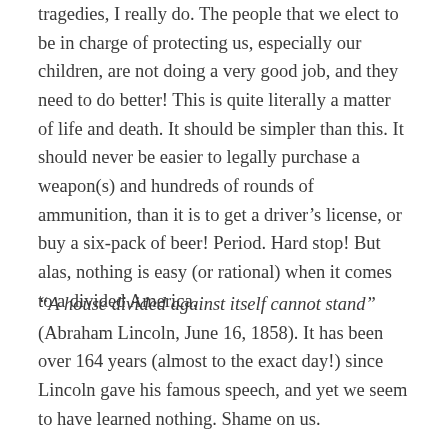tragedies, I really do. The people that we elect to be in charge of protecting us, especially our children, are not doing a very good job, and they need to do better! This is quite literally a matter of life and death. It should be simpler than this. It should never be easier to legally purchase a weapon(s) and hundreds of rounds of ammunition, than it is to get a driver's license, or buy a six-pack of beer! Period. Hard stop! But alas, nothing is easy (or rational) when it comes to a divided America.
“A house divided against itself cannot stand” (Abraham Lincoln, June 16, 1858). It has been over 164 years (almost to the exact day!) since Lincoln gave his famous speech, and yet we seem to have learned nothing. Shame on us.